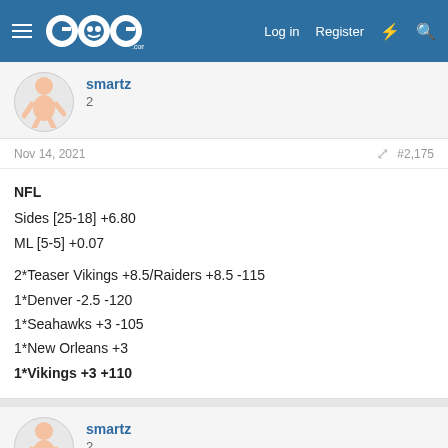GoG.com — Log in | Register
smartz
2
Nov 14, 2021  #2,175
NFL
Sides [25-18] +6.80
ML [5-5] +0.07

2*Teaser Vikings +8.5/Raiders +8.5 -115
1*Denver -2.5 -120
1*Seahawks +3 -105
1*New Orleans +3
1*Vikings +3 +110
smartz
2
Nov 14, 2021  #2,176
CFB